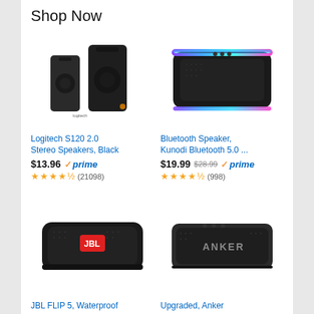Shop Now
[Figure (photo): Logitech S120 2.0 stereo speakers in black]
Logitech S120 2.0 Stereo Speakers, Black
$13.96 ✓prime
★★★★½ (21098)
[Figure (photo): Bluetooth speaker with RGB lighting edge, black rectangular shape]
Bluetooth Speaker, Kunodi Bluetooth 5.0 ...
$19.99 $28.99 ✓prime
★★★★½ (998)
[Figure (photo): JBL FLIP 5 portable waterproof bluetooth speaker in black with red JBL logo]
JBL FLIP 5, Waterproof Portable Bluetooth...
$99.95 ✓prime
[Figure (photo): Anker Soundcore bluetooth speaker in black with ANKER branding]
Upgraded, Anker Soundcore Bluetoo...
$27.99 $29.99 ✓prime